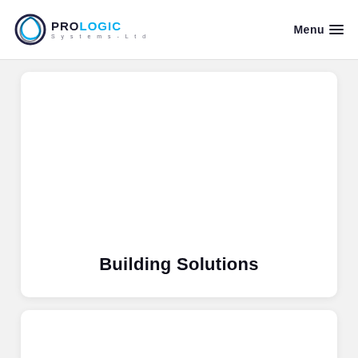PRO LOGIC Systems-Ltd | Menu
Building Solutions
[Figure (other): White card panel (second card, partially visible at bottom)]